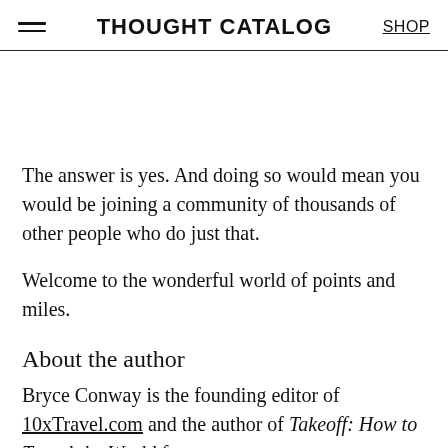THOUGHT CATALOG | SHOP
The answer is yes. And doing so would mean you would be joining a community of thousands of other people who do just that.
Welcome to the wonderful world of points and miles.
About the author
Bryce Conway is the founding editor of 10xTravel.com and the author of Takeoff: How to Travel the World for
Next to ...